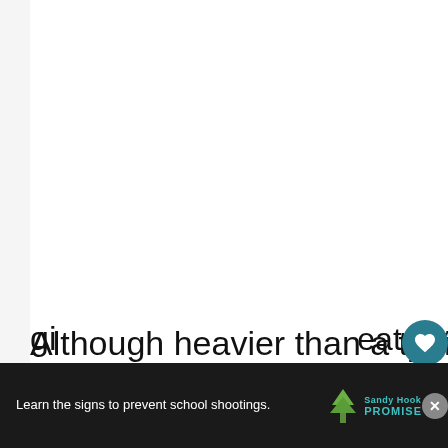[Figure (screenshot): White content area background of a webpage]
[Figure (infographic): UI interaction buttons: heart/like button (teal circle with heart icon), count showing 6, and share button (circle with share icon)]
[Figure (infographic): What's Next card showing thumbnail image and text 'WHAT'S NEXT → Healthy Blackstone...']
Although heavier than a typical electrical
gi  eat for
fe  °
[Figure (infographic): Advertisement bar at bottom: dark background with Sandy Hook Promise ad - 'Learn the signs to prevent school shootings.' with tree logo and Sandy Hook Promise branding, close X button]